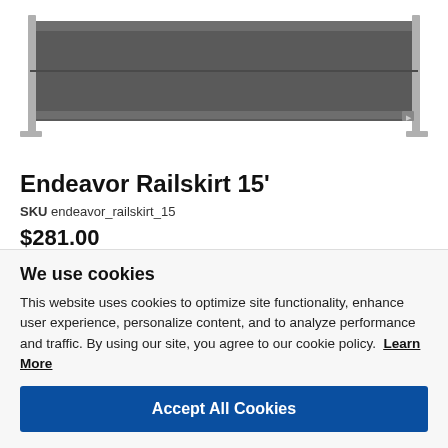[Figure (photo): Product photo of Endeavor Railskirt 15' — a long, dark gray horizontal panel/skirting unit with metal frame edges, shown against white background]
Endeavor Railskirt 15'
SKU endeavor_railskirt_15
$281.00
No reviews
We use cookies
This website uses cookies to optimize site functionality, enhance user experience, personalize content, and to analyze performance and traffic. By using our site, you agree to our cookie policy.  Learn More
Accept All Cookies